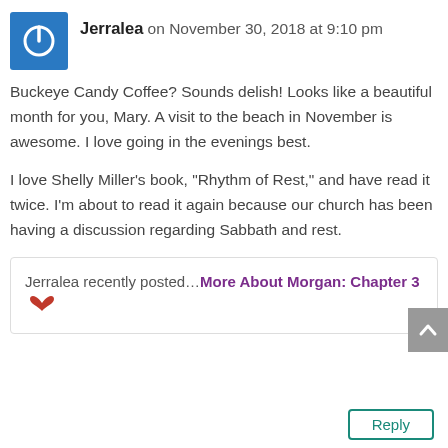[Figure (logo): Blue square avatar with white power button icon]
Jerralea on November 30, 2018 at 9:10 pm
Buckeye Candy Coffee? Sounds delish! Looks like a beautiful month for you, Mary. A visit to the beach in November is awesome. I love going in the evenings best.
I love Shelly Miller’s book, “Rhythm of Rest,” and have read it twice. I’m about to read it again because our church has been having a discussion regarding Sabbath and rest.
Jerralea recently posted…More About Morgan: Chapter 3
Reply